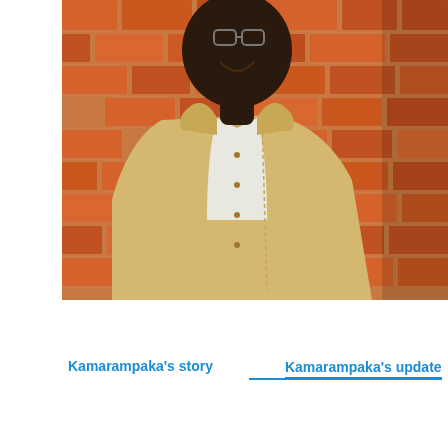[Figure (photo): A smiling man of African descent wearing a beige and white traditional shirt, standing in front of a red/orange brick wall. The photo is cropped to show his torso and part of his face/neck, with a warm background.]
Kamarampaka's story    Kamarampaka's update